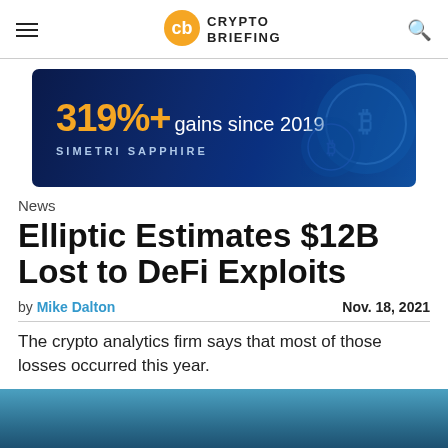CRYPTO BRIEFING
[Figure (illustration): Advertisement banner with dark blue background, Bitcoin coins, '319%+ gains since 2019' text in gold, and 'SIMETRI SAPPHIRE' branding]
News
Elliptic Estimates $12B Lost to DeFi Exploits
by Mike Dalton   Nov. 18, 2021
The crypto analytics firm says that most of those losses occurred this year.
[Figure (photo): Partial photo of a person, teal/blue toned background, cropped at bottom of page]